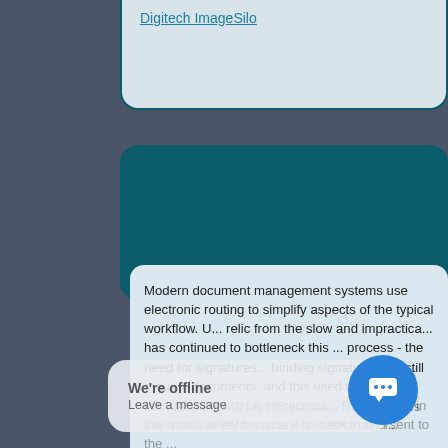Digitech ImageSilo
Modern document management systems use electronic routing to simplify aspects of the typical workflow. U... relic from the slow and impractica... has continued to bottleneck this ... process - the need for signatures... binding signatures are still requir... documents, and this used to enta... manually signing an electronically somewhere in the workflow befor... scanned back in and sent to the ...
You don't have
In 2000 the ESIGN Act (Electroni... This act states that a co... solely because it is in electronic f...
We're offline
Leave a message